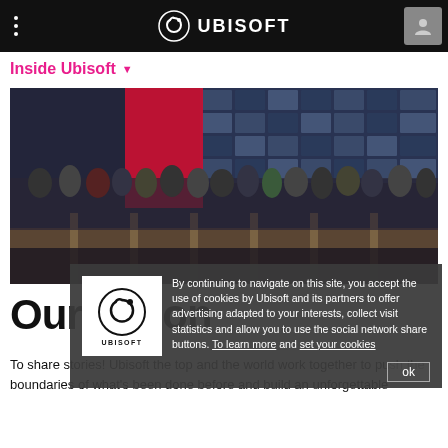UBISOFT
Inside Ubisoft
[Figure (photo): Group photo of Ubisoft employees on a stage at a conference event, with a red panel backdrop and large display screens behind them]
Our Vision
To share stories! Ubisoft the top and the world work together to push the boundaries of what's been done before and build an unforgettable
By continuing to navigate on this site, you accept the use of cookies by Ubisoft and its partners to offer advertising adapted to your interests, collect visit statistics and allow you to use the social network share buttons. To learn more and set your cookies